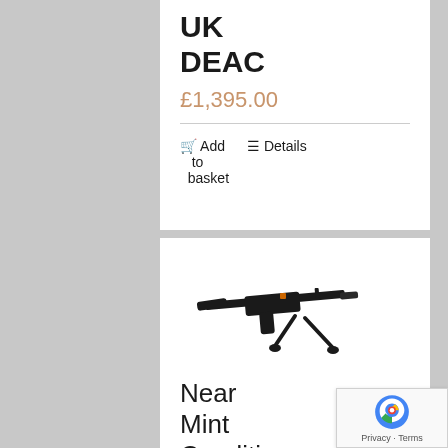UK DEAC
£1,395.00
Add to basket
Details
[Figure (photo): A deactivated firearm (machine gun style) shown on a bipod, viewed from the side, against a white background]
Near Mint Condition Old Spec Czech